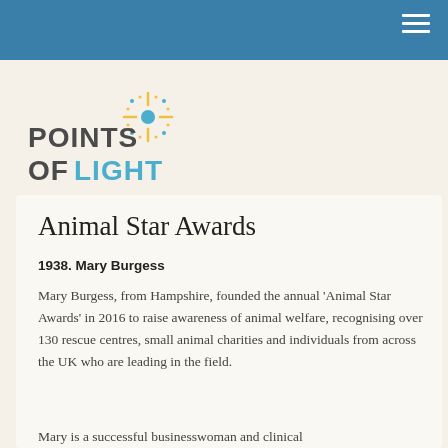[Figure (logo): Points of Light logo with a decorative starburst/asterisk icon in blue and gold, with text 'POINTS OF LIGHT' in dark and light blue]
Animal Star Awards
1938. Mary Burgess
Mary Burgess, from Hampshire, founded the annual 'Animal Star Awards' in 2016 to raise awareness of animal welfare, recognising over 130 rescue centres, small animal charities and individuals from across the UK who are leading in the field.
Mary is a successful businesswoman and clinical